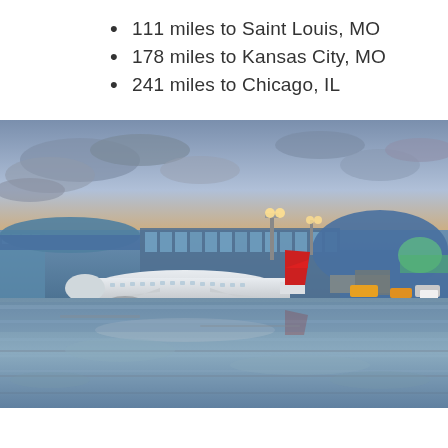111 miles to Saint Louis, MO
178 miles to Kansas City, MO
241 miles to Chicago, IL
[Figure (photo): Airport tarmac scene with a white airplane with red tail fin parked at a modern terminal building. The tarmac is wet and reflecting the scene. The sky shows dramatic clouds with a warm sunset glow on the horizon. A large modern terminal with curved roof and glass facade is visible in the background.]